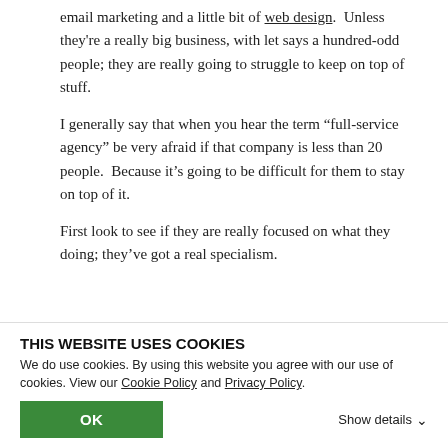email marketing and a little bit of web design. Unless they're a really big business, with let says a hundred-odd people; they are really going to struggle to keep on top of stuff.
I generally say that when you hear the term “full-service agency” be very afraid if that company is less than 20 people. Because it’s going to be difficult for them to stay on top of it.
First look to see if they are really focused on what they doing; they’ve got a real specialism.
STAYING AHEAD
The second thing I’d look for is just how they keep ahead. Because if you keep ahead you’ve got a better chance of...acquisition; that will help you beat your competition.
We hope you found advice and tips useful. If you have any